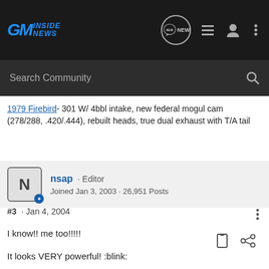GM Inside News - navigation bar with logo, NEW chat icon, list icon, user icon, menu dots
Search Community
<u>1979 Firebird</u>- 301 W/ 4bbl intake, new federal mogul cam (278/288, .420/.444), rebuilt heads, true dual exhaust with T/A tail
nsap · Editor
Joined Jan 3, 2003 · 26,951 Posts
#3 · Jan 4, 2004
I know!! me too!!!!!
It looks VERY powerful! :blink: